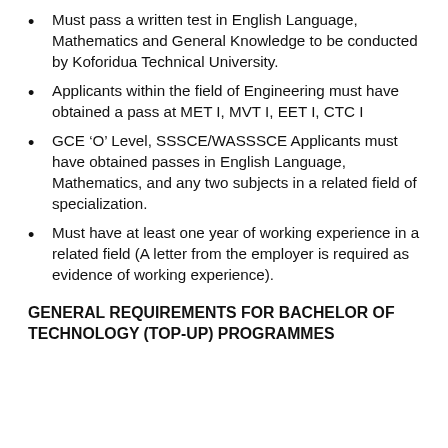Must pass a written test in English Language, Mathematics and General Knowledge to be conducted by Koforidua Technical University.
Applicants within the field of Engineering must have obtained a pass at MET I, MVT I, EET I, CTC I
GCE ‘O’ Level, SSSCE/WASSSCE Applicants must have obtained passes in English Language, Mathematics, and any two subjects in a related field of specialization.
Must have at least one year of working experience in a related field (A letter from the employer is required as evidence of working experience).
GENERAL REQUIREMENTS FOR BACHELOR OF TECHNOLOGY (TOP-UP) PROGRAMMES